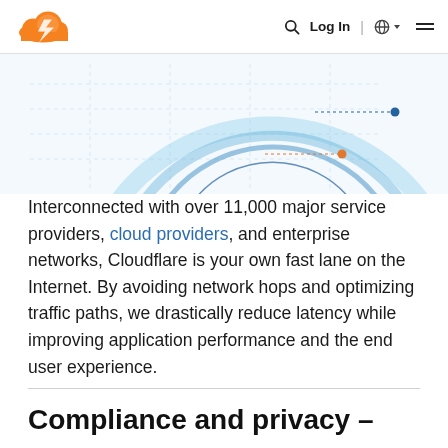Cloudflare navigation bar with logo, search, Log In, language selector, and menu
[Figure (illustration): Partial circular network/connectivity diagram with concentric arcs, dotted lines, and two colored dots (blue and orange) on a light blue background]
Interconnected with over 11,000 major service providers, cloud providers, and enterprise networks, Cloudflare is your own fast lane on the Internet. By avoiding network hops and optimizing traffic paths, we drastically reduce latency while improving application performance and the end user experience.
Compliance and privacy –